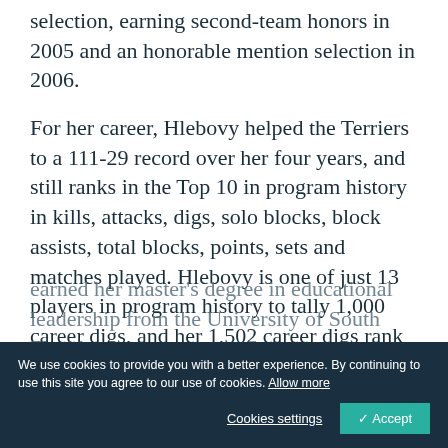selection, earning second-team honors in 2005 and an honorable mention selection in 2006.
For her career, Hlebovy helped the Terriers to a 111-29 record over her four years, and still ranks in the Top 10 in program history in kills, attacks, digs, solo blocks, block assists, total blocks, points, sets and matches played. Hlebovy is one of just 13 players in program history to tally 1,000 career digs, and her 1,502 career digs rank fourth in program history.
We use cookies to provide you with a better experience. By continuing to use this site you agree to our use of cookies. Allow more
earned her master's degree in educational leadership from the University of South Florida